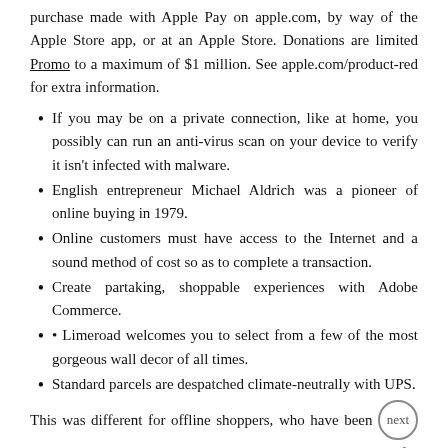purchase made with Apple Pay on apple.com, by way of the Apple Store app, or at an Apple Store. Donations are limited Promo to a maximum of $1 million. See apple.com/product-red for extra information.
If you may be on a private connection, like at home, you possibly can run an anti-virus scan on your device to verify it isn't infected with malware.
English entrepreneur Michael Aldrich was a pioneer of online buying in 1979.
Online customers must have access to the Internet and a sound method of cost so as to complete a transaction.
Create partaking, shoppable experiences with Adobe Commerce.
• Limeroad welcomes you to select from a few of the most gorgeous wall decor of all times.
Standard parcels are despatched climate-neutrally with UPS.
This was different for offline shoppers, who have been motivated by time saving and recreational motives. It's time for you get all trendy with assortment of essentially the most